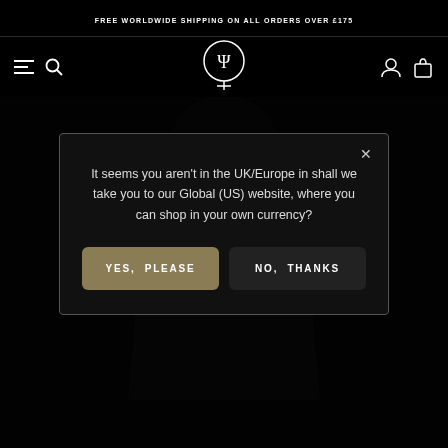FREE WORLDWIDE SHIPPING ON ALL ORDERS OVER £175
[Figure (screenshot): Website navigation bar with hamburger menu icon, search icon, brand logo (Neptune/Ψ symbol in circle), account icon, and shopping bag icon on black background]
[Figure (photo): Dark background showing silhouette of a person wearing a black hooded garment, partially obscured by a modal dialog]
It seems you aren't in the UK/Europe in shall we take you to our Global (US) website, where you can shop in your own currency?
YES, PLEASE
NO, THANKS